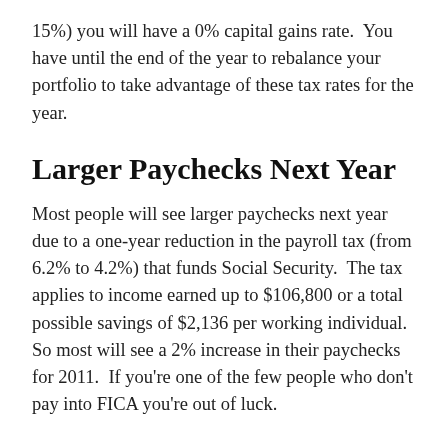15%) you will have a 0% capital gains rate.  You have until the end of the year to rebalance your portfolio to take advantage of these tax rates for the year.
Larger Paychecks Next Year
Most people will see larger paychecks next year due to a one-year reduction in the payroll tax (from 6.2% to 4.2%) that funds Social Security.  The tax applies to income earned up to $106,800 or a total possible savings of $2,136 per working individual.  So most will see a 2% increase in their paychecks for 2011.  If you're one of the few people who don't pay into FICA you're out of luck.